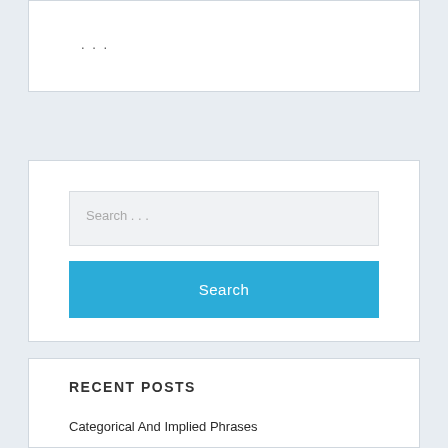. . .
Search …
Search
RECENT POSTS
Categorical And Implied Phrases
Legislation Articles From AMAZINES.COM